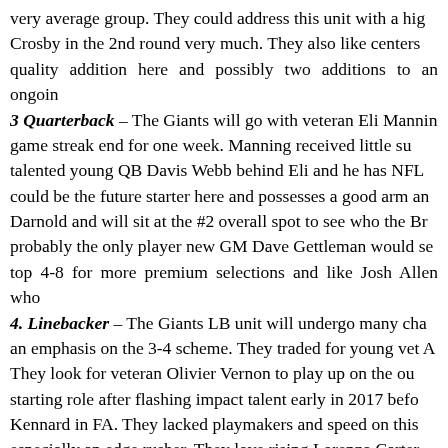very average group. They could address this unit with a high quality selection here and possibly two additions to an ongoing rebuild. Crosby in the 2nd round very much. They also like centers quality addition here and possibly two additions to an ongoing 3 Quarterback – The Giants will go with veteran Eli Manning game streak end for one week. Manning received little support. talented young QB Davis Webb behind Eli and he has NFL could be the future starter here and possesses a good arm and Darnold and will sit at the #2 overall spot to see who the Browns probably the only player new GM Dave Gettleman would select top 4-8 for more premium selections and like Josh Allen who 4. Linebacker – The Giants LB unit will undergo many changes an emphasis on the 3-4 scheme. They traded for young vet A. They look for veteran Olivier Vernon to play up on the outside starting role after flashing impact talent early in 2017 before Kennard in FA. They lacked playmakers and speed on this unit especially an edge rusher. They love rising Lorenzo Carter to attack backers, Ogbonnia Okoronkwo and Uchenna Nwos